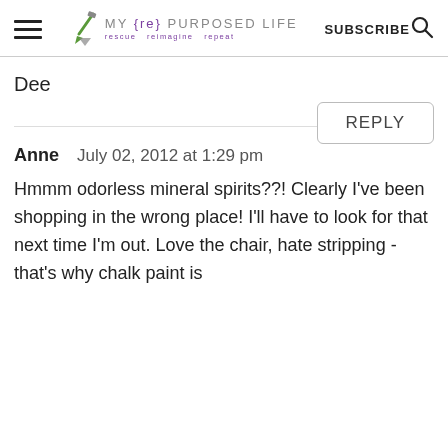MY {re} PURPOSED LIFE — rescue reimagine repeat | SUBSCRIBE
Dee
REPLY
Anne   July 02, 2012 at 1:29 pm
Hmmm odorless mineral spirits??! Clearly I've been shopping in the wrong place! I'll have to look for that next time I'm out. Love the chair, hate stripping - that's why chalk paint is